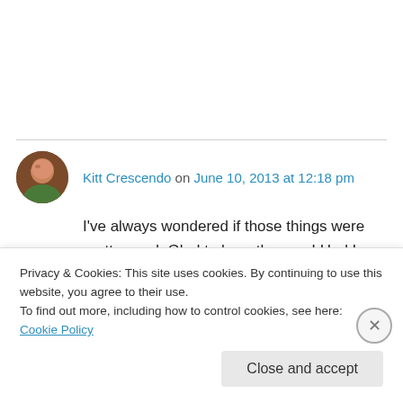Kitt Crescendo on June 10, 2013 at 12:18 pm
I've always wondered if those things were pretty good. Glad to hear they are! Had I known this back in the day, I would've totally sent it to Afghanistan in my best friend's care package.
★ Like
Privacy & Cookies: This site uses cookies. By continuing to use this website, you agree to their use.
To find out more, including how to control cookies, see here: Cookie Policy
Close and accept